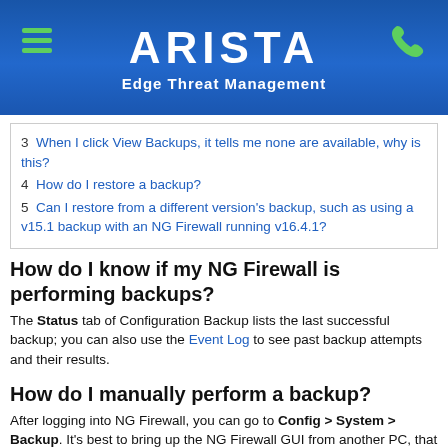ARISTA Edge Threat Management
3  When I click View Backups, it tells me none are available, why is this?
4  How do I restore a backup?
5  Can I restore from a different version's backup, such as using a v15.1 backup with an NG Firewall running v16.4.1?
How do I know if my NG Firewall is performing backups?
The Status tab of Configuration Backup lists the last successful backup; you can also use the Event Log to see past backup attempts and their results.
How do I manually perform a backup?
After logging into NG Firewall, you can go to Config > System > Backup. It's best to bring up the NG Firewall GUI from another PC, that way you can download the backup directly to another system.
When I click View Backups, it tells me none are available, why is this?